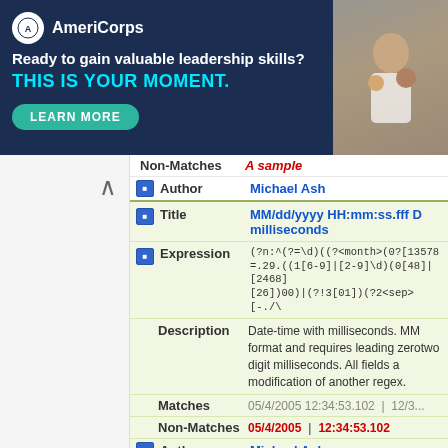[Figure (other): AmeriCorps advertisement banner: 'Ready to gain valuable leadership skills? THIS IS YOUR MOMENT. LEARN MORE' with photo of people]
Non-Matches   A sample
Author   Michael Ash
Title   MM/dd/yyyy HH:mm:ss.fff D... milliseconds
Expression   (?n:^(?=\d)((?<month>(0?[13578...
Description   Date-time with milliseconds. MM... format and requires leading zero... two digit milliseconds. All fields a... modification of another regex.
Matches   05/4/2005 12:34:53.102   |   12/3...
Non-Matches   05/4/2005   |   12:34:53.102
Author   Michael Ash
Title   ISBNs
Expression   ISBN(-1(?:(0)|3))?:?\x20+(?1)(?...